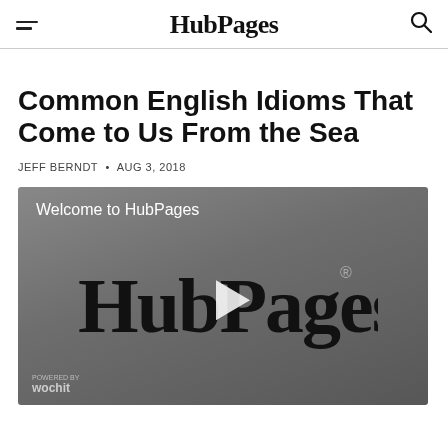HubPages
Common English Idioms That Come to Us From the Sea
JEFF BERNDT • AUG 3, 2018
[Figure (screenshot): HubPages welcome video thumbnail showing HubPages logo with play button on grey background, with 'Welcome to HubPages' text and 'wochit' badge]